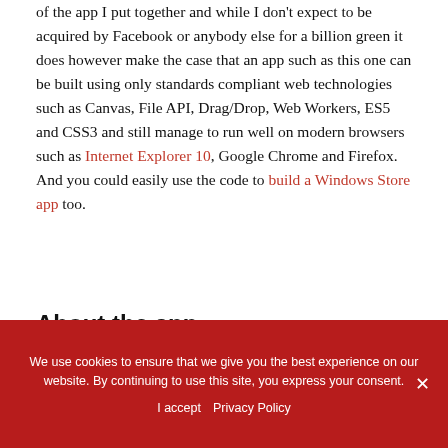of the app I put together and while I don't expect to be acquired by Facebook or anybody else for a billion green it does however make the case that an app such as this one can be built using only standards compliant web technologies such as Canvas, File API, Drag/Drop, Web Workers, ES5 and CSS3 and still manage to run well on modern browsers such as Internet Explorer 10, Google Chrome and Firefox. And you could easily use the code to build a Windows Store app too.
About the app
We use cookies to ensure that we give you the best experience on our website. By continuing to use this site, you express your consent. I accept  Privacy Policy